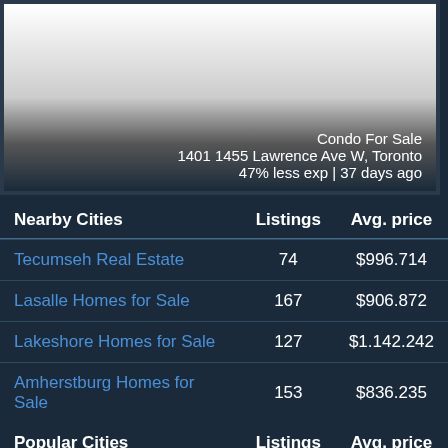[Figure (photo): Condo property photo (white/grey gradient placeholder) with overlay text showing listing details]
Condo For Sale
1401 1455 Lawrence Ave W, Toronto
47% less exp | 37 days ago
| Nearby Cities | Listings | Avg. price |
| --- | --- | --- |
| Tecumseh Real Estate | 74 | $996.714 |
| Lasalle Homes for Sale | 167 | $906.872 |
| Lakeshore Homes for Sale | 127 | $1.142.242 |
| Amherstburg Homes for Sale | 153 | $836.235 |
| Popular Cities (header) | Listings | Avg. price |
| London Homes for Sale | 959 | $833.553 |
| Kitchener Homes for Sale | 563 | $920.929 |